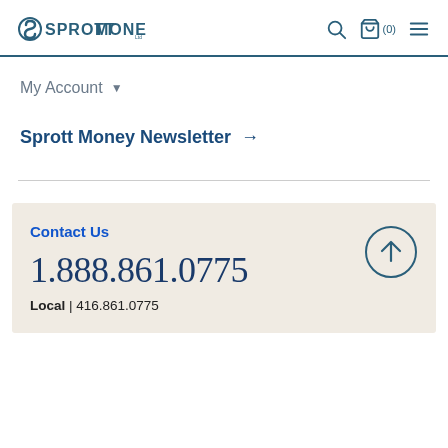Sprott Money
My Account ▾
Sprott Money Newsletter →
Contact Us
1.888.861.0775
Local | 416.861.0775